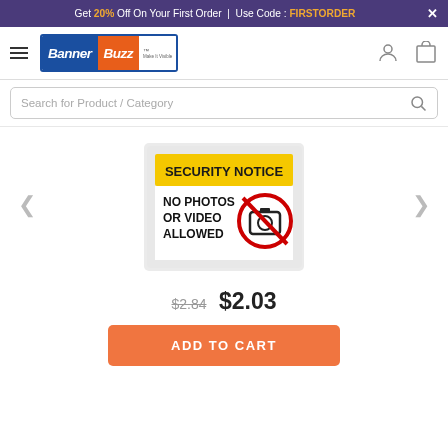Get 20% Off On Your First Order | Use Code : FIRSTORDER
[Figure (logo): BannerBuzz logo with blue 'Banner' and orange 'Buzz' on white background]
[Figure (screenshot): Search for Product / Category search bar with magnifying glass icon]
[Figure (photo): Security Notice sign: yellow header 'SECURITY NOTICE', text 'NO PHOTOS OR VIDEO ALLOWED' with a no-camera symbol (camera with red circle and slash)]
$2.84  $2.03
ADD TO CART